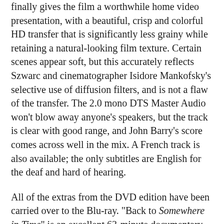finally gives the film a worthwhile home video presentation, with a beautiful, crisp and colorful HD transfer that is significantly less grainy while retaining a natural-looking film texture. Certain scenes appear soft, but this accurately reflects Szwarc and cinematographer Isidore Mankofsky's selective use of diffusion filters, and is not a flaw of the transfer. The 2.0 mono DTS Master Audio won't blow away anyone's speakers, but the track is clear with good range, and John Barry's score comes across well in the mix. A French track is also available; the only subtitles are English for the deaf and hard of hearing.
All of the extras from the DVD edition have been carried over to the Blu-ray. "Back to Somewhere in Time" is an excellent 63-minute documentary by Laurent Bouzereau that includes interviews with all the major participants: Szwarc, Matheson, Reeve, Seymour, Plummer, Barry, etc. One gets the impression that everyone believed in this modestly-budgeted project and gave it their all, only to be disappointed by its initial failure; it's heartwarming to see them able to enjoy its later status as a